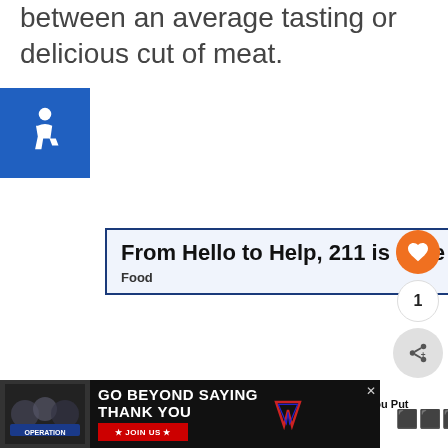between an average tasting or delicious cut of meat.
[Figure (illustration): Accessibility icon — white wheelchair symbol on blue square background]
[Figure (screenshot): Advertisement box with blue border: 'From Hello to Help, 211 is Here' with subtext 'Food' and close button]
[Figure (infographic): Social sidebar: orange heart button, count badge showing '1', share button with plus icon]
[Figure (screenshot): What's Next panel: 'Why Do You Put Brown...' with food thumbnail image]
[Figure (screenshot): Bottom banner ad: 'GO BEYOND SAYING THANK YOU' with Operation Gratitude logo and JOIN US button, close X]
[Figure (logo): Side logo: stylized 'w' with degree symbol]